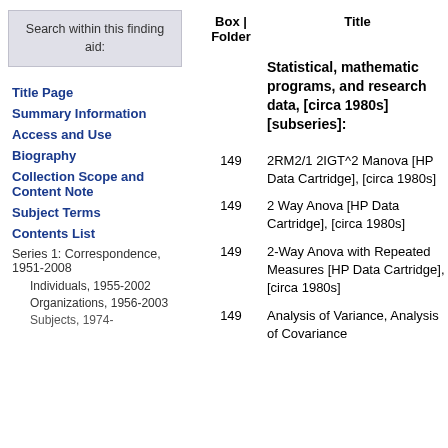Search within this finding aid:
Title Page
Summary Information
Access and Use
Biography
Collection Scope and Content Note
Subject Terms
Contents List
Series 1: Correspondence, 1951-2008
Individuals, 1955-2002
Organizations, 1956-2003
Subjects, 1974-
| Box | Folder | Title |
| --- | --- |
|  | Statistical, mathematic programs, and research data, [circa 1980s] [subseries]: |
| 149 | 2RM2/1 2IGT^2 Manova [HP Data Cartridge], [circa 1980s] |
| 149 | 2 Way Anova [HP Data Cartridge], [circa 1980s] |
| 149 | 2-Way Anova with Repeated Measures [HP Data Cartridge], [circa 1980s] |
| 149 | Analysis of Variance, Analysis of Covariance |